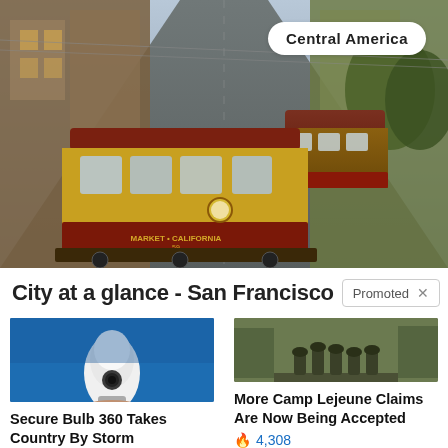[Figure (photo): Street scene of San Francisco cable trams on a steep hill, two cable cars visible, city buildings and trees on either side, warm golden light]
Central America
City at a glance - San Francisco
Promoted
[Figure (photo): Hand holding a white security camera shaped like a light bulb (Secure Bulb 360) against a blue background]
Secure Bulb 360 Takes Country By Storm
[Figure (photo): Military soldiers in camouflage gear riding on a watercraft/boat in murky water]
More Camp Lejeune Claims Are Now Being Accepted
🔥 4,308